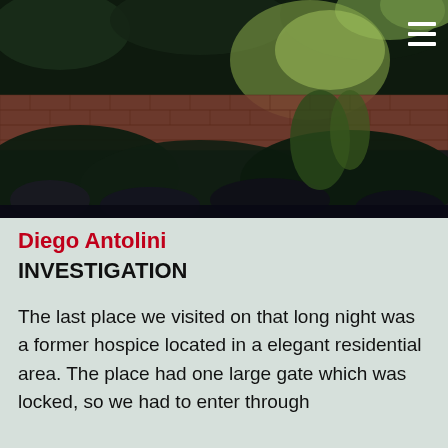[Figure (photo): Nighttime outdoor photo showing a brick wall with green tropical plants and foliage in front of it, illuminated by artificial light. A hamburger menu icon is visible in the top-right corner of the image.]
Diego Antolini
INVESTIGATION
The last place we visited on that long night was a former hospice located in a elegant residential area. The place had one large gate which was locked, so we had to enter through